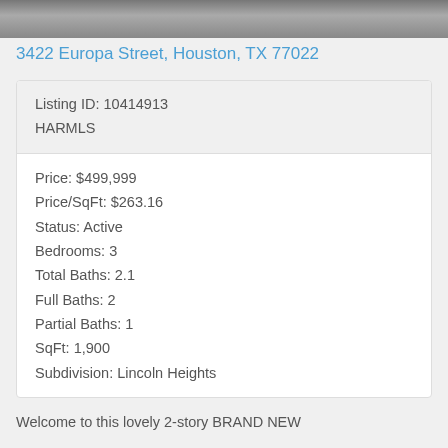[Figure (photo): Aerial or street photo of property, partially visible at top of page]
3422 Europa Street, Houston, TX 77022
| Listing ID: 10414913 |
| HARMLS |
| Price: $499,999 |
| Price/SqFt: $263.16 |
| Status: Active |
| Bedrooms: 3 |
| Total Baths: 2.1 |
| Full Baths: 2 |
| Partial Baths: 1 |
| SqFt: 1,900 |
| Subdivision: Lincoln Heights |
Welcome to this lovely 2-story BRAND NEW